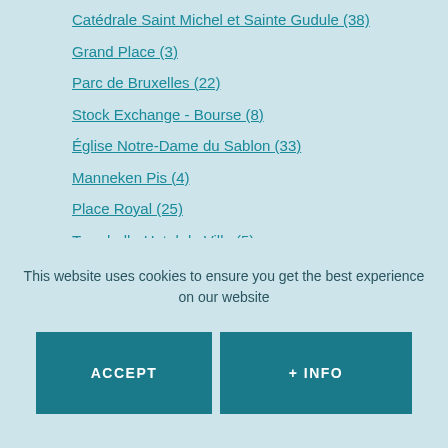Catédrale Saint Michel et Sainte Gudule (38)
Grand Place (3)
Parc de Bruxelles (22)
Stock Exchange - Bourse (8)
Église Notre-Dame du Sablon (33)
Manneken Pis (4)
Place Royal (25)
Townhall - Hotel de Ville (5)
Église Saint Jacques sur Coudenberg (24)
Palais de Justice (36)
Rue des Bouchers (11)
Galeries Saint Hubert (10)
This website uses cookies to ensure you get the best experience on our website
ACCEPT
+ INFO